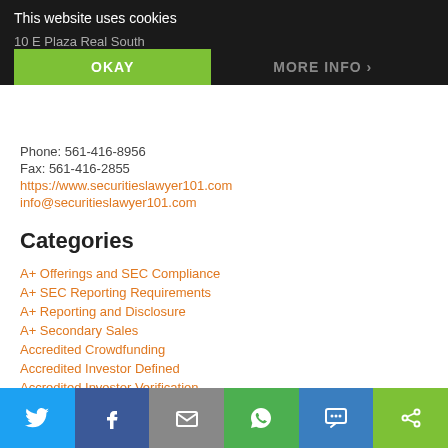This website uses cookies
10 E Plaza Real South
OKAY
MORE INFO
Phone: 561-416-8956
Fax: 561-416-2855
https://www.securitieslawyer101.com
info@securitieslawyer101.com
Categories
A+ Offerings and SEC Compliance
A+ SEC Reporting Requirements
A+ Reporting and Disclosure
A+ Secondary Sales
Accredited Crowdfunding
Accredited Investor Defined
Accredited Investor Verification
CF Crowdfunding SEC Reporting Requirements
Confidential Registration Statements
Control Person and Control Securities